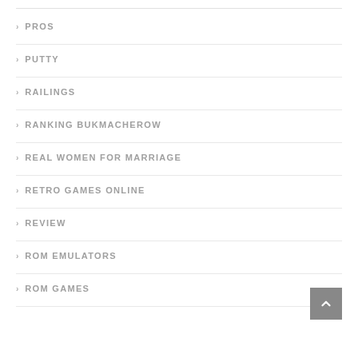PROS
PUTTY
RAILINGS
RANKING BUKMACHEROW
REAL WOMEN FOR MARRIAGE
RETRO GAMES ONLINE
REVIEW
ROM EMULATORS
ROM GAMES